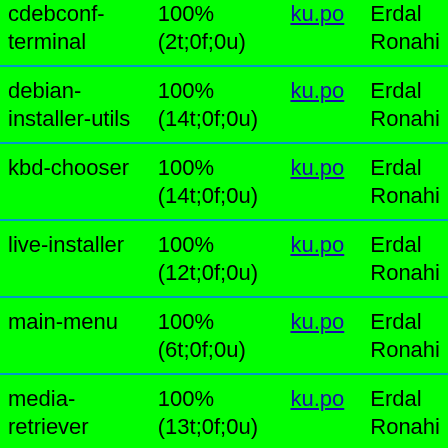| Package | Completion | Link | Translator |
| --- | --- | --- | --- |
| cdebconf-terminal | 100% (2t;0f;0u) | ku.po | Erdal Ronahi |
| debian-installer-utils | 100% (14t;0f;0u) | ku.po | Erdal Ronahi |
| kbd-chooser | 100% (14t;0f;0u) | ku.po | Erdal Ronahi |
| live-installer | 100% (12t;0f;0u) | ku.po | Erdal Ronahi |
| main-menu | 100% (6t;0f;0u) | ku.po | Erdal Ronahi |
| media-retriever | 100% (13t;0f;0u) | ku.po | Erdal Ronahi |
| net-retriever | 100% (6t;0f;0u) | ku.po | Erdal Ronahi |
| partman-auto | 100% (24t;0f;0u) | ku.po | Erdal Ronahi |
| partman-auto- | 100% | ku.po | Erdal |